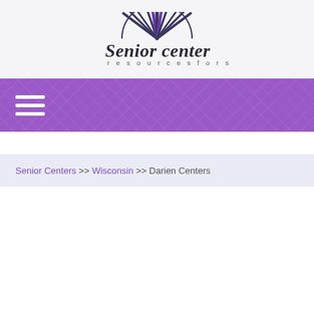[Figure (logo): Senior Center logo with sunburst graphic above text reading 'Senior center' in large italic font, with 'r e s o u r c e s   f o r   s e n i o r s' below in spaced lettering]
☰ (hamburger menu icon on purple navigation bar)
Senior Centers >> Wisconsin >> Darien Centers